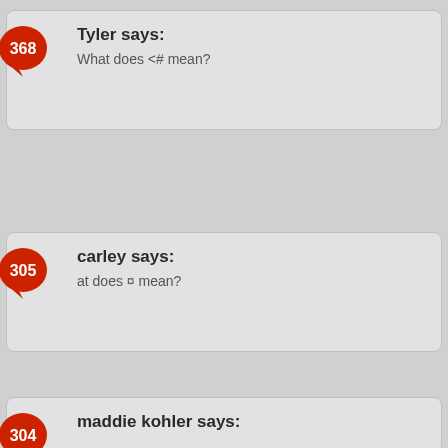Tyler says: What does <# mean?
carley says: at does ¤ mean?
maddie kohler says: